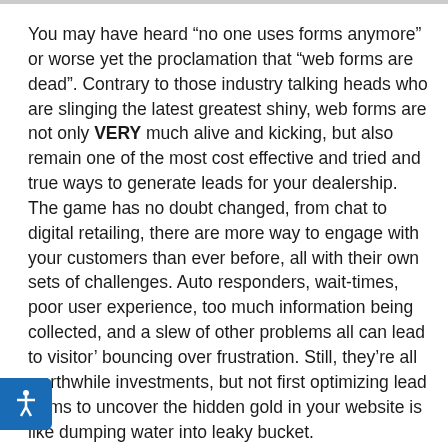You may have heard “no one uses forms anymore” or worse yet the proclamation that “web forms are dead”. Contrary to those industry talking heads who are slinging the latest greatest shiny, web forms are not only VERY much alive and kicking, but also remain one of the most cost effective and tried and true ways to generate leads for your dealership. The game has no doubt changed, from chat to digital retailing, there are more way to engage with your customers than ever before, all with their own sets of challenges. Auto responders, wait-times, poor user experience, too much information being collected, and a slew of other problems all can lead to visitor’ bouncing over frustration. Still, they’re all worthwhile investments, but not first optimizing lead forms to uncover the hidden gold in your website is like dumping water into leaky bucket.